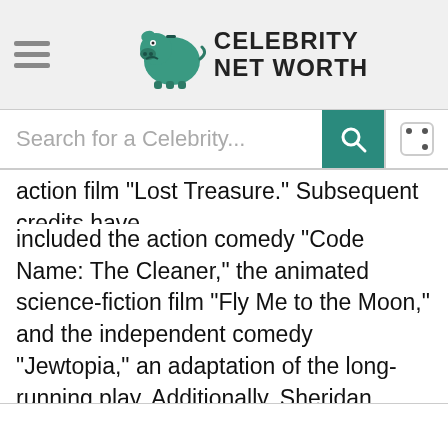Celebrity Net Worth
action film "Lost Treasure." Subsequent credits have included the action comedy "Code Name: The Cleaner," the animated science-fiction film "Fly Me to the Moon," and the independent comedy "Jewtopia," an adaptation of the long-running play. Additionally, Sheridan made a cameo appearance in the 2014 black comedy "Let's Kill Ward's Wife."